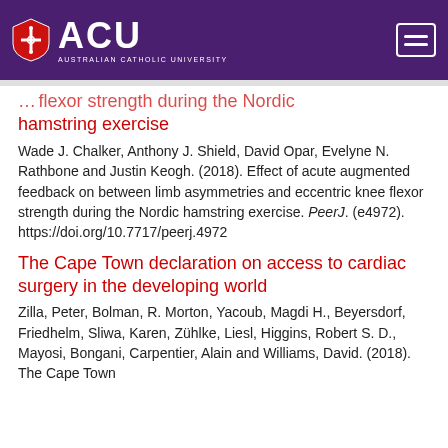ACU - Australian Catholic University
hamstring exercise
Wade J. Chalker, Anthony J. Shield, David Opar, Evelyne N. Rathbone and Justin Keogh. (2018). Effect of acute augmented feedback on between limb asymmetries and eccentric knee flexor strength during the Nordic hamstring exercise. PeerJ. (e4972). https://doi.org/10.7717/peerj.4972
The Cape Town declaration on access to cardiac surgery in the developing world
Zilla, Peter, Bolman, R. Morton, Yacoub, Magdi H., Beyersdorf, Friedhelm, Sliwa, Karen, Zühlke, Liesl, Higgins, Robert S. D., Mayosi, Bongani, Carpentier, Alain and Williams, David. (2018). The Cape Town